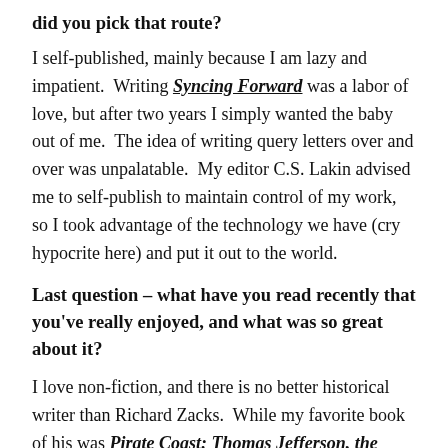did you pick that route?
I self-published, mainly because I am lazy and impatient. Writing Syncing Forward was a labor of love, but after two years I simply wanted the baby out of me. The idea of writing query letters over and over was unpalatable. My editor C.S. Lakin advised me to self-publish to maintain control of my work, so I took advantage of the technology we have (cry hypocrite here) and put it out to the world.
Last question – what have you read recently that you've really enjoyed, and what was so great about it?
I love non-fiction, and there is no better historical writer than Richard Zacks. While my favorite book of his was Pirate Coast: Thomas Jefferson, the First Marines, and the Secret Mission of 1805, I